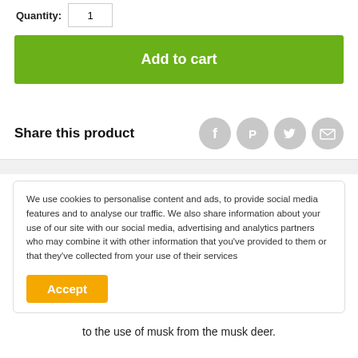Quantity: [input]
Add to cart
Share this product
[Figure (infographic): Four circular social sharing icons: Facebook (f), Pinterest (p), Twitter bird, Email (envelope), all in gray]
We use cookies to personalise content and ads, to provide social media features and to analyse our traffic. We also share information about your use of our site with our social media, advertising and analytics partners who may combine it with other information that you've provided to them or that they've collected from your use of their services
Accept
to the use of musk from the musk deer.